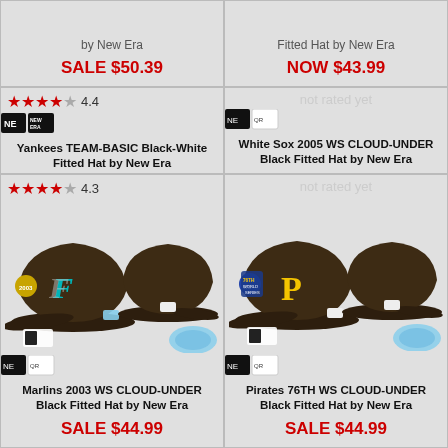by New Era
SALE $50.39
Fitted Hat by New Era
NOW $43.99
4.4 stars
[Figure (photo): Yankees TEAM-BASIC Black-White Fitted Hat by New Era - two views of black baseball cap with NY logo]
Yankees TEAM-BASIC Black-White Fitted Hat by New Era
NOW $43.99
not rated yet
[Figure (photo): White Sox 2005 WS CLOUD-UNDER Black Fitted Hat by New Era - two views of dark brown baseball cap with Sox logo and light blue underside]
White Sox 2005 WS CLOUD-UNDER Black Fitted Hat by New Era
SALE $44.99
4.3 stars
[Figure (photo): Marlins 2003 WS CLOUD-UNDER Black Fitted Hat by New Era - two views of dark brown baseball cap with Marlins F logo and light blue underside]
Marlins 2003 WS CLOUD-UNDER Black Fitted Hat by New Era
SALE $44.99
not rated yet
[Figure (photo): Pirates 76TH WS CLOUD-UNDER Black Fitted Hat by New Era - two views of dark brown baseball cap with P logo and light blue underside]
Pirates 76TH WS CLOUD-UNDER Black Fitted Hat by New Era
SALE $44.99